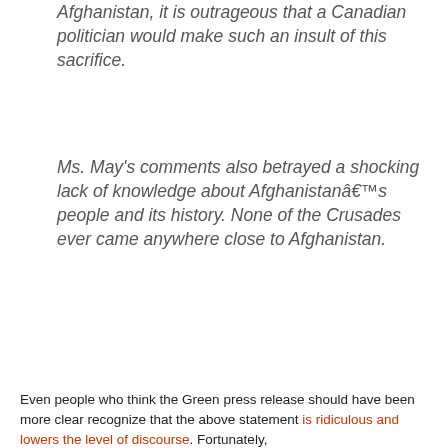Afghanistan, it is outrageous that a Canadian politician would make such an insult of this sacrifice.
Ms. May's comments also betrayed a shocking lack of knowledge about Afghanistanâ€™s people and its history. None of the Crusades ever came anywhere close to Afghanistan.
Even people who think the Green press release should have been more clear recognize that the above statement is ridiculous and lowers the level of discourse. Fortunately,